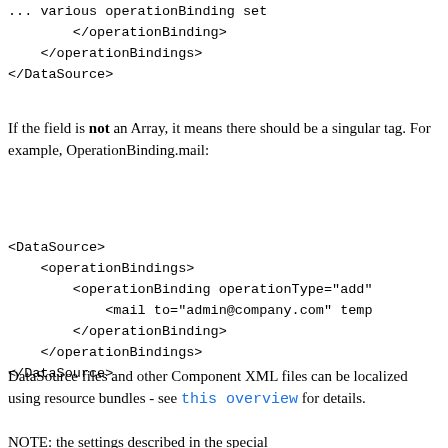... various operationBinding set
        </operationBinding>
    </operationBindings>
</DataSource>
If the field is not an Array, it means there should be a singular tag. For example, OperationBinding.mail:
<DataSource>
    <operationBindings>
        <operationBinding operationType="add"
            <mail to="admin@company.com" temp
        </operationBinding>
    </operationBindings>
</DataSource>
DataSource files and other Component XML files can be localized using resource bundles - see this overview for details.
NOTE: the settings described in the special